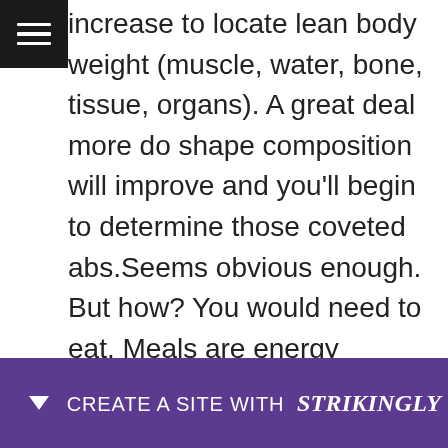increase to locate lean body weight (muscle, water, bone, tissue, organs). A great deal more do shape composition will improve and you'll begin to determine those coveted abs.Seems obvious enough. But how? You would need to eat. Meals are energy towards your metabolism. Essential ingredients . to consume a minimum of 5 times a day and every 2-4 hours to stoke your metabolism to new highs. microsoft office 2020 cracked version download will make for several months this needs staying a lifetime commitment. Eating this way will a person to read … will not e… ever
[Figure (other): Strikingly website builder promotional banner at the bottom of the page with purple background, a downward arrow, and text 'CREATE A SITE WITH strikingly']